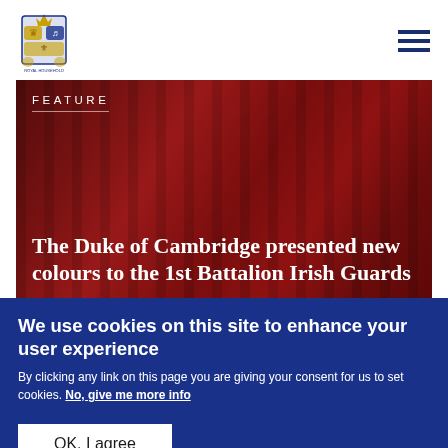Royal Family website header with coat of arms logo and hamburger menu
[Figure (photo): Photo of soldiers in red ceremonial uniform (Irish Guards) on parade, with overlaid text 'FEATURE' and article title]
The Duke of Cambridge presented new colours to the 1st Battalion Irish Guards
We use cookies on this site to enhance your user experience
By clicking any link on this page you are giving your consent for us to set cookies. No, give me more info
OK, I agree